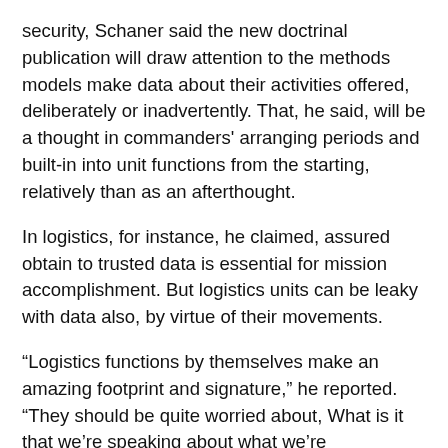security, Schaner said the new doctrinal publication will draw attention to the methods models make data about their activities offered, deliberately or inadvertently. That, he said, will be a thought in commanders' arranging periods and built-in into unit functions from the starting, relatively than as an afterthought.
In logistics, for instance, he claimed, assured obtain to trusted data is essential for mission accomplishment. But logistics units can be leaky with data also, by virtue of their movements.
“Logistics functions by themselves make an amazing footprint and signature,” he reported. “They should be quite worried about, What is it that we’re speaking about what we’re undertaking … how am I staying found, not just from the opsec point of view, but also from info projection.”
MCDP-8 also is predicted to shine a mild on how troops on their own are influenced by what information they are